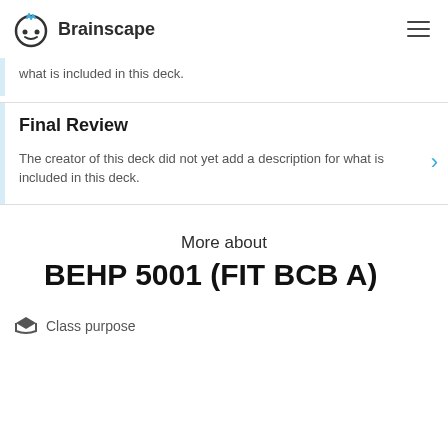Brainscape
what is included in this deck.
Final Review
The creator of this deck did not yet add a description for what is included in this deck.
More about BEHP 5001 (FIT BCBA)
Class purpose